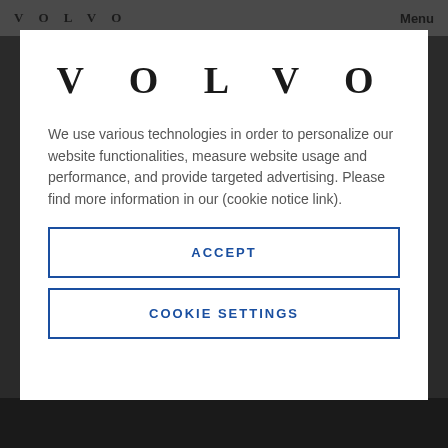VOLVO  Menu
[Figure (logo): VOLVO wordmark logo in large serif bold uppercase letters with wide letter-spacing]
We use various technologies in order to personalize our website functionalities, measure website usage and performance, and provide targeted advertising. Please find more information in our (cookie notice link).
ACCEPT
COOKIE SETTINGS